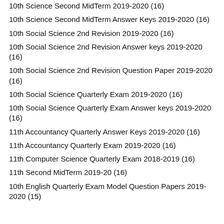10th Science Second MidTerm 2019-2020 (16)
10th Science Second MidTerm Answer Keys 2019-2020 (16)
10th Social Science 2nd Revision 2019-2020 (16)
10th Social Science 2nd Revision Answer keys 2019-2020 (16)
10th Social Science 2nd Revision Question Paper 2019-2020 (16)
10th Social Science Quarterly Exam 2019-2020 (16)
10th Social Science Quarterly Exam Answer keys 2019-2020 (16)
11th Accountancy Quarterly Answer Keys 2019-2020 (16)
11th Accountancy Quarterly Exam 2019-2020 (16)
11th Computer Science Quarterly Exam 2018-2019 (16)
11th Second MidTerm 2019-20 (16)
10th English Quarterly Exam Model Question Papers 2019-2020 (15)